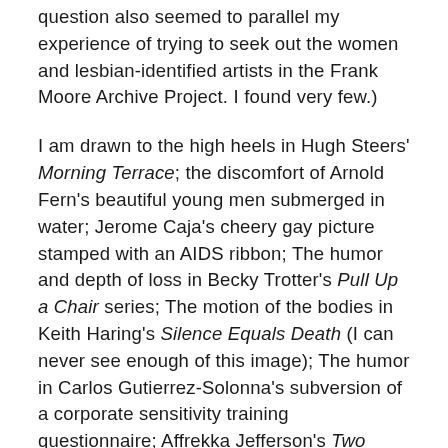question also seemed to parallel my experience of trying to seek out the women and lesbian-identified artists in the Frank Moore Archive Project. I found very few.)
I am drawn to the high heels in Hugh Steers' Morning Terrace; the discomfort of Arnold Fern's beautiful young men submerged in water; Jerome Caja's cheery gay picture stamped with an AIDS ribbon; The humor and depth of loss in Becky Trotter's Pull Up a Chair series; The motion of the bodies in Keith Haring's Silence Equals Death (I can never see enough of this image); The humor in Carlos Gutierrez-Solonna's subversion of a corporate sensitivity training questionnaire; Affrekka Jefferson's Two Sapphos (I want to read this story!); and the assault of gayness with